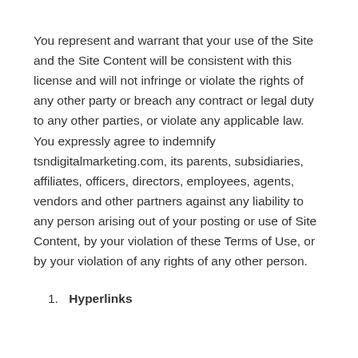You represent and warrant that your use of the Site and the Site Content will be consistent with this license and will not infringe or violate the rights of any other party or breach any contract or legal duty to any other parties, or violate any applicable law. You expressly agree to indemnify tsndigitalmarketing.com, its parents, subsidiaries, affiliates, officers, directors, employees, agents, vendors and other partners against any liability to any person arising out of your posting or use of Site Content, by your violation of these Terms of Use, or by your violation of any rights of any other person.
1. Hyperlinks